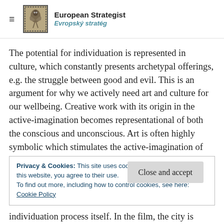European Strategist / Evropský stratég
The potential for individuation is represented in culture, which constantly presents archetypal offerings, e.g. the struggle between good and evil. This is an argument for why we actively need art and culture for our wellbeing. Creative work with its origin in the active-imagination becomes representational of both the conscious and unconscious. Art is often highly symbolic which stimulates the active-imagination of artist and onlooker. There is some sense of a primordial experience of wholeness that the artwork tries to
Privacy & Cookies: This site uses cookies. By continuing to use this website, you agree to their use.
To find out more, including how to control cookies, see here:
Cookie Policy
individuation process itself. In the film, the city is